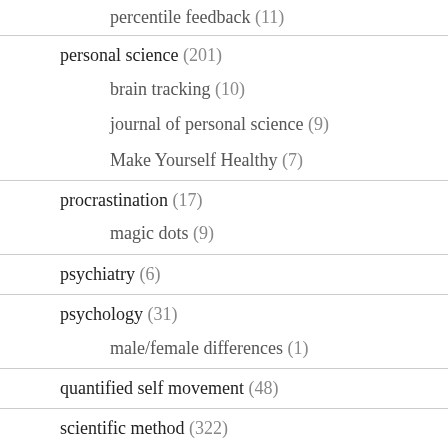percentile feedback (11)
personal science (201)
brain tracking (10)
journal of personal science (9)
Make Yourself Healthy (7)
procrastination (17)
magic dots (9)
psychiatry (6)
psychology (31)
male/female differences (1)
quantified self movement (48)
scientific method (322)